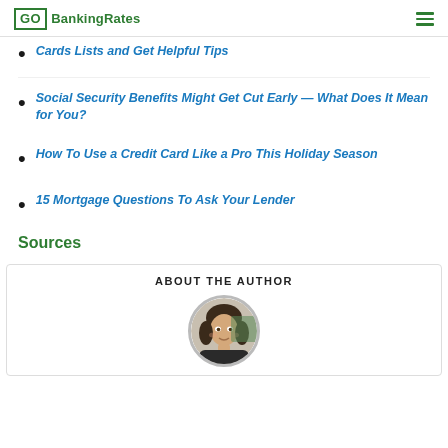GO BankingRates
Cards Lists and Get Helpful Tips
Social Security Benefits Might Get Cut Early — What Does It Mean for You?
How To Use a Credit Card Like a Pro This Holiday Season
15 Mortgage Questions To Ask Your Lender
Sources
ABOUT THE AUTHOR
[Figure (photo): Author headshot — woman with dark hair, circular crop]